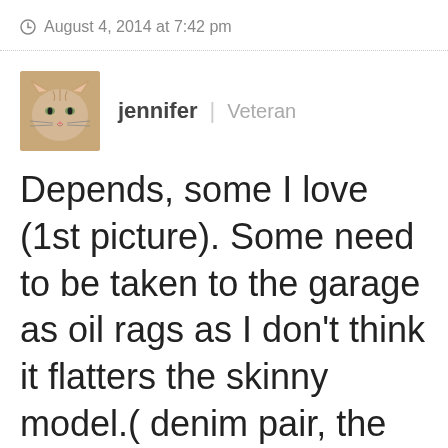August 4, 2014 at 7:42 pm
jennifer | Veteran
Depends, some I love (1st picture). Some need to be taken to the garage as oil rags as I don't think it flatters the skinny model.( denim pair, the leather one would get a try at refashioning and if that fails Charlie